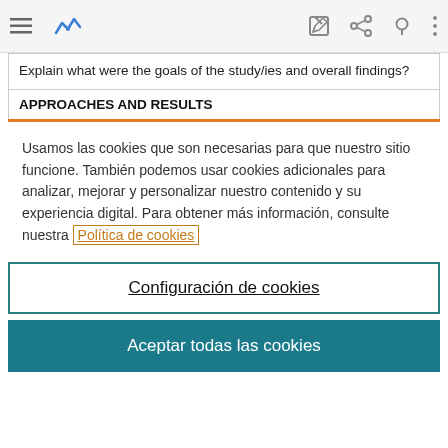[Figure (screenshot): Browser/app toolbar with hamburger menu icon, blue graph logo, edit icon, share icon, search icon, and vertical dots menu icon]
| Explain what were the goals of the study/ies and overall findings? |
| APPROACHES AND RESULTS |
Usamos las cookies que son necesarias para que nuestro sitio funcione. También podemos usar cookies adicionales para analizar, mejorar y personalizar nuestro contenido y su experiencia digital. Para obtener más información, consulte nuestra Política de cookies
Configuración de cookies
Aceptar todas las cookies